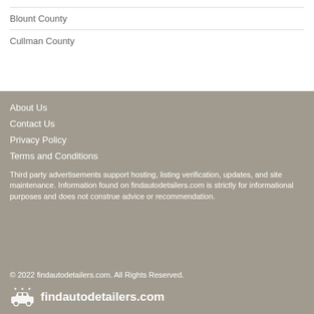Blount County
Cullman County
About Us
Contact Us
Privacy Policy
Terms and Conditions
Third party advertisements support hosting, listing verification, updates, and site maintenance. Information found on findautodetailers.com is strictly for informational purposes and does not construe advice or recommendation.
© 2022 findautodetailers.com. All Rights Reserved.
findautodetailers.com